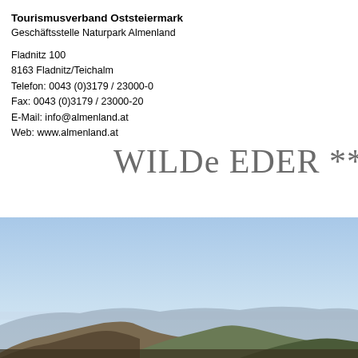Tourismusverband Oststeiermark
Geschäftsstelle Naturpark Almenland
Fladnitz 100
8163 Fladnitz/Teichalm
Telefon: 0043 (0)3179 / 23000-0
Fax: 0043 (0)3179 / 23000-20
E-Mail: info@almenland.at
Web: www.almenland.at
WILDe EDER **
[Figure (photo): Mountain landscape panorama with blue sky, showing rolling mountain ridges with dark slopes against a clear blue sky.]